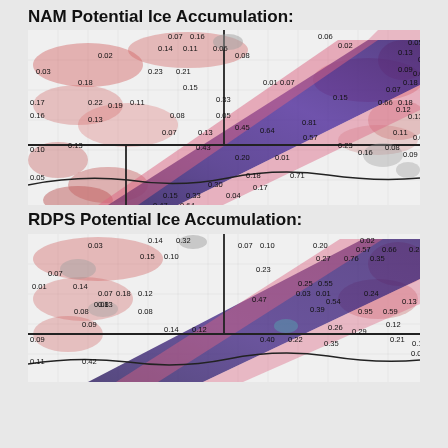NAM Potential Ice Accumulation:
[Figure (map): NAM Potential Ice Accumulation map showing a band of high ice accumulation (dark blue/purple) stretching diagonally across a US regional map. Values labeled across the map include: 0.06, 0.02, 0.07, 0.16, 0.13, 0.05, 0.03, 0.14, 0.11, 0.06, 0.07, 0.18, 0.02, 0.18, 0.08, 0.07, 0.09, 0.23, 0.21, 0.08, 0.88, 0.17, 0.15, 0.15, 0.18, 0.22, 0.19, 0.31, 0.16, 0.33, 0.01, 0.07, 0.66, 0.12, 0.13, 0.05, 0.08, 0.08, 0.45, 0.64, 0.81, 0.57, 0.23, 0.16, 0.10, 0.13, 0.07, 0.11, 0.05, 0.05, 0.13, 0.43, 0.20, 0.01, 0.08, 0.09, 0.18, 0.71, 0.30, 0.04, 0.17, 0.33, 0.15, 0.64, 0.47. Colors range from white (low) through pink/red (moderate) to dark blue/purple (high accumulation).]
RDPS Potential Ice Accumulation:
[Figure (map): RDPS Potential Ice Accumulation map showing similar diagonal band of high ice accumulation. Values labeled: 0.02, 0.14, 0.32, 0.07, 0.10, 0.20, 0.57, 0.66, 0.23, 0.03, 0.19, 0.27, 0.76, 0.35, 0.15, 0.10, 0.25, 0.55, 0.07, 0.23, 0.01, 0.14, 0.24, 0.18, 0.19, 0.54, 0.13, 0.07, 0.12, 0.47, 0.03, 0.39, 0.95, 0.59, 0.12, 0.08, 0.08, 0.12, 0.01, 0.26, 0.29, 0.21, 0.19, 0.07, 0.13, 0.08, 0.09, 0.14, 0.12, 0.40, 0.22, 0.35, 0.09, 0.42, 0.11. Colors range from white through pink/red to dark blue/purple.]